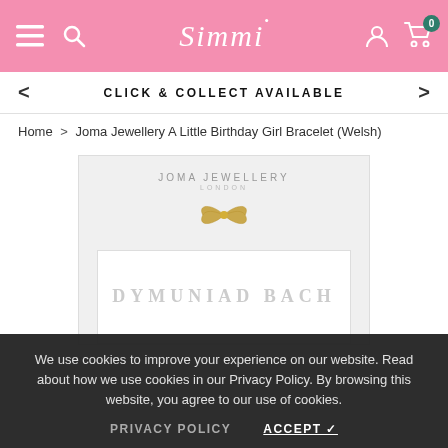Simmi
CLICK & COLLECT AVAILABLE
Home > Joma Jewellery A Little Birthday Girl Bracelet (Welsh)
[Figure (photo): Product image of Joma Jewellery box with gold bow ribbon and white inner card showing Welsh text 'DYMUNIAD BACH' (partially visible)]
We use cookies to improve your experience on our website. Read about how we use cookies in our Privacy Policy. By browsing this website, you agree to our use of cookies.
PRIVACY POLICY   ACCEPT ✓